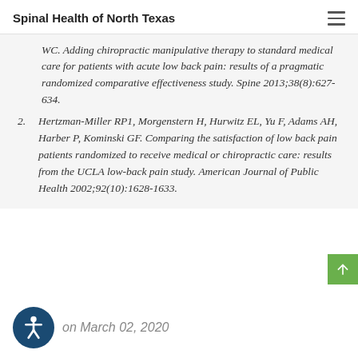Spinal Health of North Texas
WC. Adding chiropractic manipulative therapy to standard medical care for patients with acute low back pain: results of a pragmatic randomized comparative effectiveness study. Spine 2013;38(8):627-634.
2. Hertzman-Miller RP1, Morgenstern H, Hurwitz EL, Yu F, Adams AH, Harber P, Kominski GF. Comparing the satisfaction of low back pain patients randomized to receive medical or chiropractic care: results from the UCLA low-back pain study. American Journal of Public Health 2002;92(10):1628-1633.
on March 02, 2020